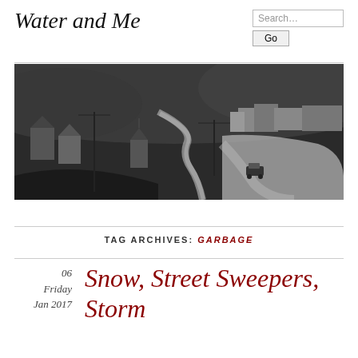Water and Me
[Figure (photo): Black and white historical panoramic photograph of a town with a river winding through a valley, houses and a church visible, a car on a dirt road in the foreground, hills in the background]
TAG ARCHIVES: GARBAGE
06 Friday Jan 2017
Snow, Street Sweepers, Storm